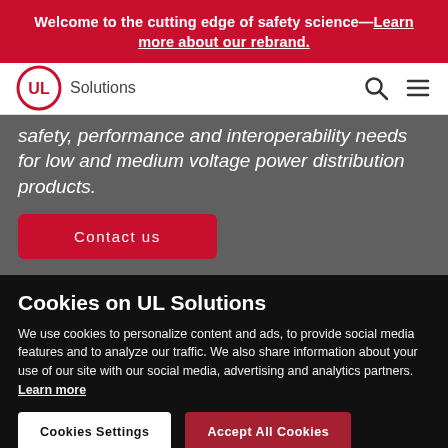Welcome to the cutting edge of safety science—Learn more about our rebrand.
[Figure (logo): UL Solutions logo with circular UL mark and 'Solutions' text beside it, with search and hamburger menu icons on the right]
safety, performance and interoperability needs for low and medium voltage power distribution products.
Contact us
Cookies on UL Solutions
We use cookies to personalize content and ads, to provide social media features and to analyze our traffic. We also share information about your use of our site with our social media, advertising and analytics partners. Learn more
Cookies Settings
Accept All Cookies